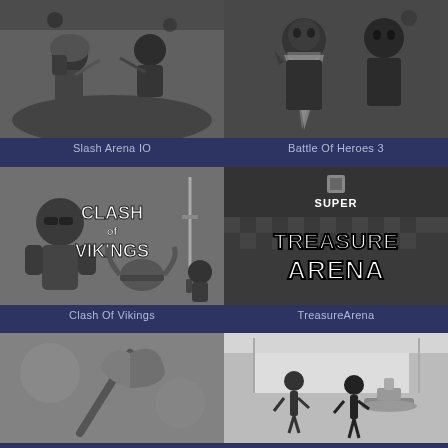[Figure (screenshot): Slash Arena IO game thumbnail - grayscale battle scene with warrior characters]
Slash Arena IO
[Figure (screenshot): Battle Of Heroes 3 game thumbnail - grayscale illustration of skeletal/undead heroes]
Battle Of Heroes 3
[Figure (screenshot): Clash Of Vikings game thumbnail - grayscale cartoon vikings with game logo text]
Clash Of Vikings
[Figure (screenshot): TreasureArena game thumbnail - grayscale pixel art with 'Super Treasure Arena' logo text]
TreasureArena
[Figure (screenshot): Unknown game thumbnail - grayscale image with axe/weapon visible]
[Figure (screenshot): Unknown game thumbnail - grayscale image with stick figure characters and fountain]